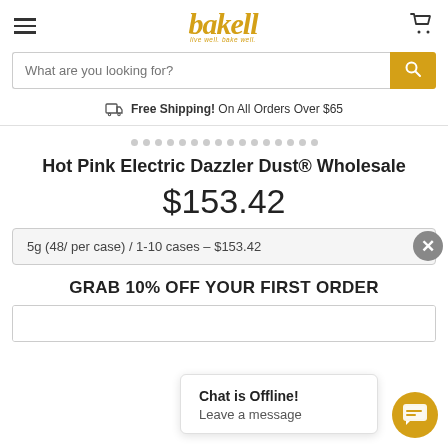[Figure (logo): Bakell logo with text 'bakell live well. bake well.' in gold/yellow italic font with whisk graphic]
What are you looking for?
Free Shipping! On All Orders Over $65
Hot Pink Electric Dazzler Dust® Wholesale
$153.42
5g (48/ per case) / 1-10 cases – $153.42
GRAB 10% OFF YOUR FIRST ORDER
Chat is Offline!
Leave a message